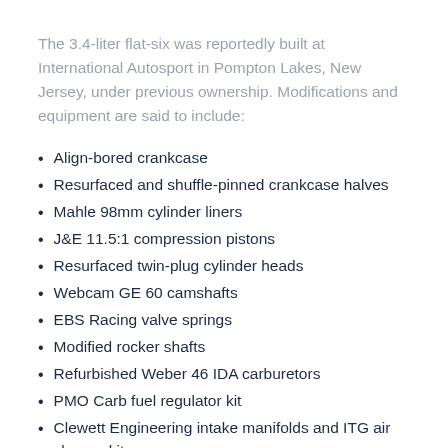The 3.4-liter flat-six was reportedly built at International Autosport in Pompton Lakes, New Jersey, under previous ownership. Modifications and equipment are said to include:
Align-bored crankcase
Resurfaced and shuffle-pinned crankcase halves
Mahle 98mm cylinder liners
J&E 11.5:1 compression pistons
Resurfaced twin-plug cylinder heads
Webcam GE 60 camshafts
EBS Racing valve springs
Modified rocker shafts
Refurbished Weber 46 IDA carburetors
PMO Carb fuel regulator kit
Clewett Engineering intake manifolds and ITG air cleaner kit
Clewett Engineering twin plug waste spark ignition with adjustable timing
Clewett Engineering ECU
Map-controlled ignition with variable kit